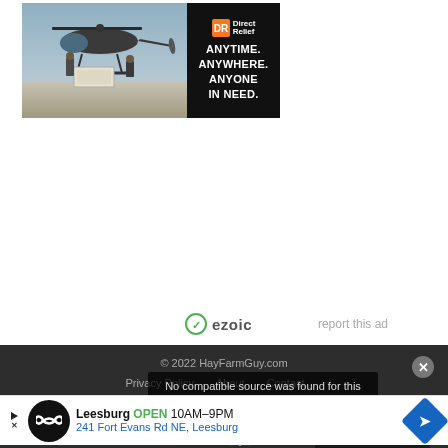[Figure (photo): Direct Relief advertisement banner showing military helicopter loading supplies, with logo and tagline: ANYTIME. ANYWHERE. ANYONE IN NEED.]
[Figure (logo): Ezoic logo with green shield icon and 'ezoic' text, alongside 'report this ad' link]
© 2022 HayFarmGuy.com
Privacy Policy   About   Contact
No compatible source was found for this media.
[Figure (photo): Partial thumbnail image of a houseplant article with text 'Houseplant! We believe']
[Figure (photo): Leesburg store advertisement: OPEN 10AM-9PM, 241 Fort Evans Rd NE, Leesburg]